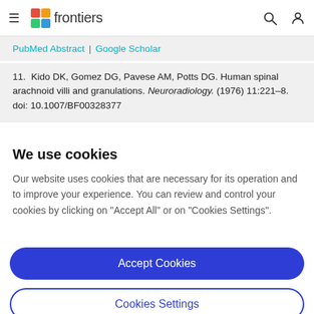frontiers
PubMed Abstract | Google Scholar
11. Kido DK, Gomez DG, Pavese AM, Potts DG. Human spinal arachnoid villi and granulations. Neuroradiology. (1976) 11:221–8. doi: 10.1007/BF00328377
We use cookies
Our website uses cookies that are necessary for its operation and to improve your experience. You can review and control your cookies by clicking on "Accept All" or on "Cookies Settings".
Accept Cookies
Cookies Settings